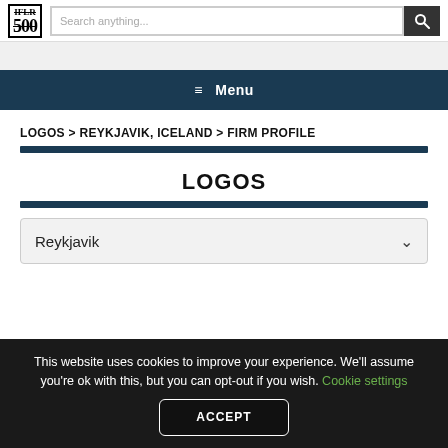IFLR 500 | Search anything...
≡ Menu
LOGOS > REYKJAVIK, ICELAND > FIRM PROFILE
LOGOS
Reykjavik
This website uses cookies to improve your experience. We'll assume you're ok with this, but you can opt-out if you wish. Cookie settings
ACCEPT